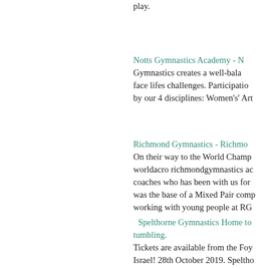play.
Notts Gymnastics Academy - Gymnastics creates a well-balanced person able to face lifes challenges. Participation by our 4 disciplines: Women's' Art
Richmond Gymnastics - Richmond On their way to the World Champ worldacro richmondgymnastics ac coaches who has been with us for was the base of a Mixed Pair comp working with young people at RG
Spelthorne Gymnastics Home to tumbling. Tickets are available from the Foy Israel! 28th October 2019. Speltho Acrobatic Gymnastics Champions